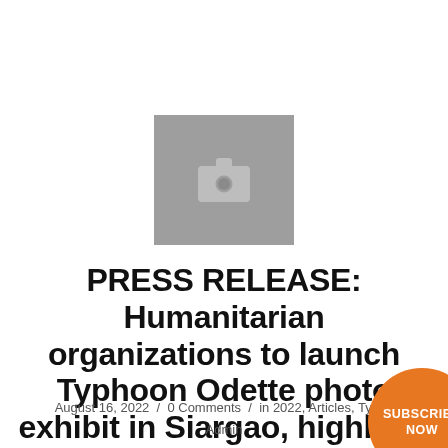[Figure (photo): Gray placeholder image with camera icon, indicating a missing or loading photo]
PRESS RELEASE: Humanitarian organizations to launch Typhoon Odette photo exhibit in Siargao, highlight need of survi
August 16, 2022 / 0 Comments / in 2022, Articles, Typho
Admin